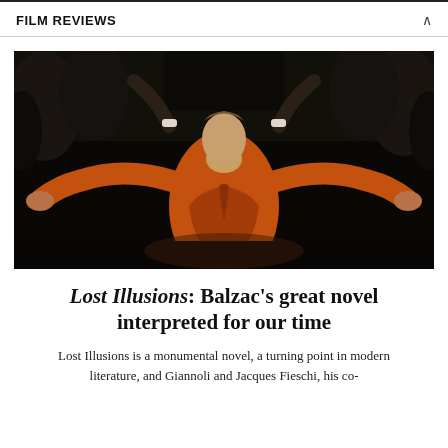FILM REVIEWS
[Figure (photo): A young man in an orange/rust period costume with arms outstretched, head tilted back, surrounded by a crowd of people in dark formal attire.]
Lost Illusions: Balzac's great novel interpreted for our time
Lost Illusions is a monumental novel, a turning point in modern literature, and Giannoli and Jacques Fieschi, his co-